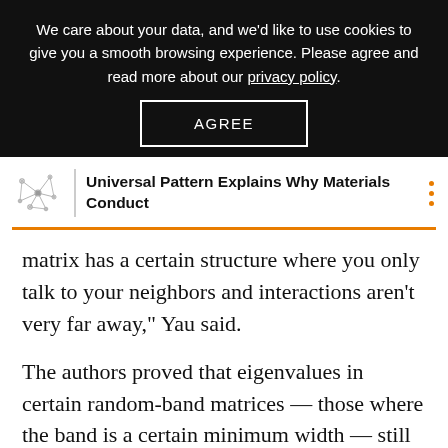We care about your data, and we'd like to use cookies to give you a smooth browsing experience. Please agree and read more about our privacy policy.
AGREE
[Figure (logo): Quanta Magazine molecule/network logo icon]
Universal Pattern Explains Why Materials Conduct
matrix has a certain structure where you only talk to your neighbors and interactions aren't very far away," Yau said.
The authors proved that eigenvalues in certain random-band matrices — those where the band is a certain minimum width — still follow the distribution Wigner observed in mean-field matrices. This means that even when you restrict